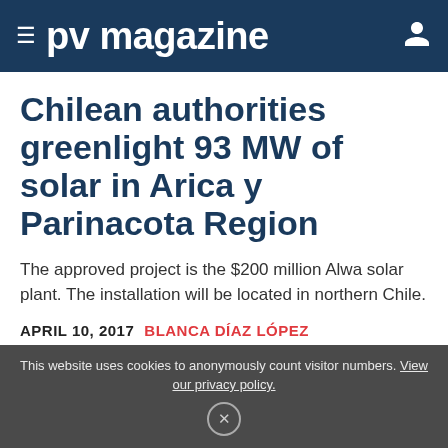≡ pv magazine
Chilean authorities greenlight 93 MW of solar in Arica y Parinacota Region
The approved project is the $200 million Alwa solar plant. The installation will be located in northern Chile.
APRIL 10, 2017  BLANCA DÍAZ LÓPEZ
This website uses cookies to anonymously count visitor numbers. View our privacy policy.